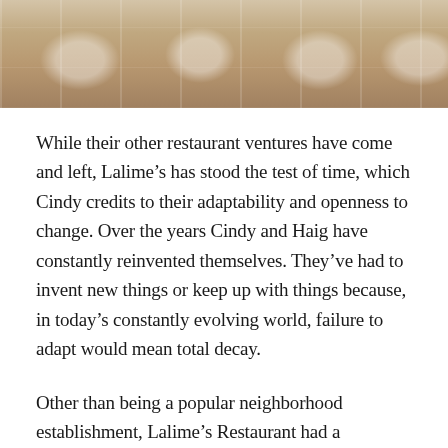[Figure (photo): Photo of a restaurant interior with white tablecloths, wine glasses, and wooden chairs arranged in rows.]
While their other restaurant ventures have come and left, Lalime's has stood the test of time, which Cindy credits to their adaptability and openness to change. Over the years Cindy and Haig have constantly reinvented themselves. They've had to invent new things or keep up with things because, in today's constantly evolving world, failure to adapt would mean total decay.
Other than being a popular neighborhood establishment, Lalime's Restaurant had a reputation of providing a seasonal, regularly evolving menu, where Levantine meals such as manoushe served with